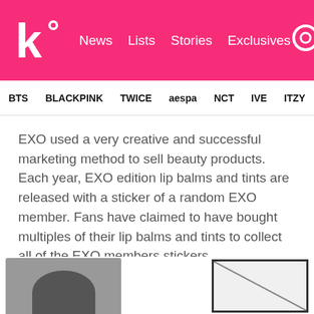k! News Lists Stories Exclusives
BTS BLACKPINK TWICE aespa NCT IVE ITZY
EXO used a very creative and successful marketing method to sell beauty products. Each year, EXO edition lip balms and tints are released with a sticker of a random EXO member. Fans have claimed to have bought multiples of their lip balms and tints to collect all of the EXO members stickers.
4. Lee Kwang Soo
[Figure (photo): Bottom portion of page showing two images: left is a partial photo of a person's head, right is an envelope/card image]